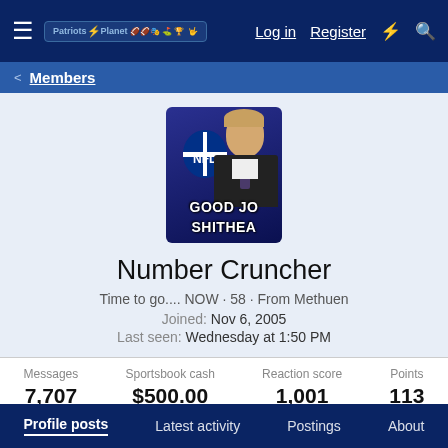Patriots Planet — Log in  Register
< Members
[Figure (photo): Profile avatar image showing a man at an NFL podium/backdrop with overlaid meme text 'GOOD JO SHITHEA']
Number Cruncher
Time to go.... NOW · 58 · From Methuen
Joined: Nov 6, 2005
Last seen: Wednesday at 1:50 PM
| Messages | Sportsbook cash | Reaction score | Points |
| --- | --- | --- | --- |
| 7,707 | $500.00 | 1,001 | 113 |
Find ▼
Profile posts  Latest activity  Postings  About